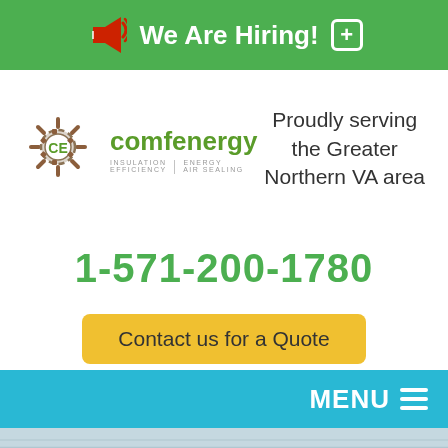We Are Hiring!
[Figure (logo): Comfenergy logo with sun/gear icon. Text: comfenergy. Subtags: INSULATION | ENERGY EFFICIENCY | AIR SEALING]
Proudly serving the Greater Northern VA area
1-571-200-1780
Contact us for a Quote
MENU
AIR SEAL